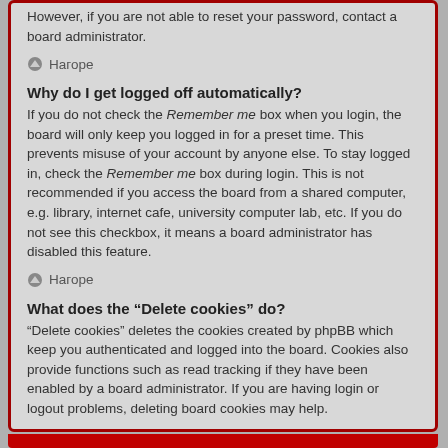However, if you are not able to reset your password, contact a board administrator.
Нагоре
Why do I get logged off automatically?
If you do not check the Remember me box when you login, the board will only keep you logged in for a preset time. This prevents misuse of your account by anyone else. To stay logged in, check the Remember me box during login. This is not recommended if you access the board from a shared computer, e.g. library, internet cafe, university computer lab, etc. If you do not see this checkbox, it means a board administrator has disabled this feature.
Нагоре
What does the “Delete cookies” do?
“Delete cookies” deletes the cookies created by phpBB which keep you authenticated and logged into the board. Cookies also provide functions such as read tracking if they have been enabled by a board administrator. If you are having login or logout problems, deleting board cookies may help.
Нагоре